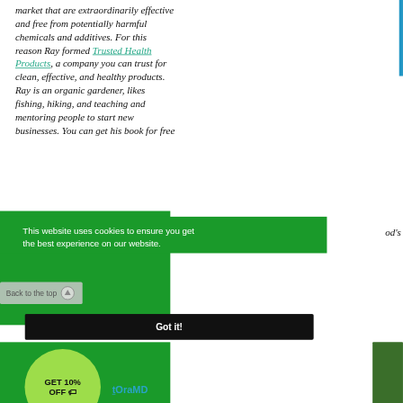market that are extraordinarily effective and free from potentially harmful chemicals and additives. For this reason Ray formed Trusted Health Products, a company you can trust for clean, effective, and healthy products. Ray is an organic gardener, likes fishing, hiking, and teaching and mentoring people to start new businesses. You can get his book for free...
ood's
This website uses cookies to ensure you get the best experience on our website.
Back to the top
Got it!
GET 10% OFF 🏷
tOraMD